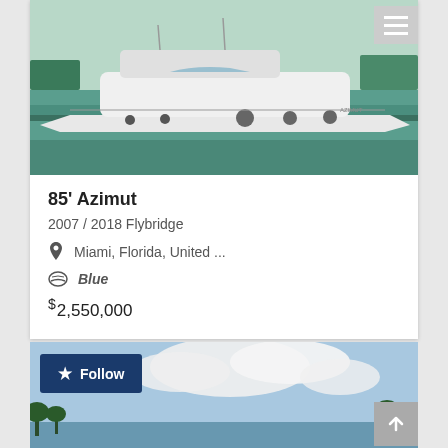[Figure (photo): A large white luxury motor yacht (Azimut 85 Flybridge) moored at a dock, viewed from the side. Green water and palm trees in the background.]
85' Azimut
2007 / 2018 Flybridge
Miami, Florida, United ...
Blue
$2,550,000
[Figure (photo): Partial view of a second yacht listing card with a Follow button overlaid on a coastal scene with clouds and palm trees.]